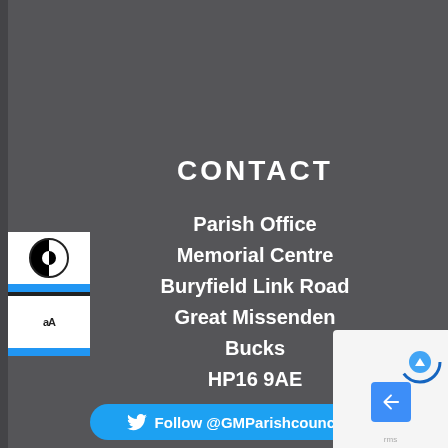CONTACT
Parish Office
Memorial Centre
Buryfield Link Road
Great Missenden
Bucks
HP16 9AE
> Contact Us
Tel: 01494 864792
Follow @GMParishcouncil